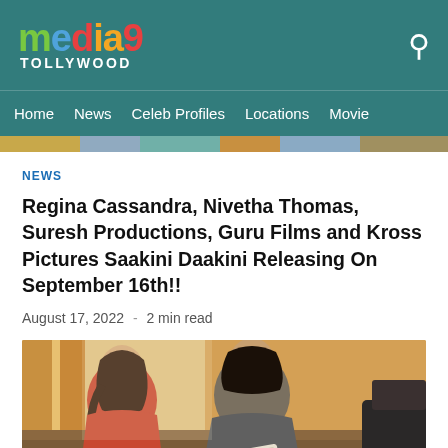media9 TOLLYWOOD
Home  News  Celeb Profiles  Locations  Movie
[Figure (photo): Narrow colorful image strip at top of article content area]
NEWS
Regina Cassandra, Nivetha Thomas, Suresh Productions, Guru Films and Kross Pictures Saakini Daakini Releasing On September 16th!!
August 17, 2022  -  2 min read
[Figure (photo): Two people sitting together, a woman in a red/orange top and a man in a grey t-shirt looking at a book or magazine, indoor setting with curtains in background]